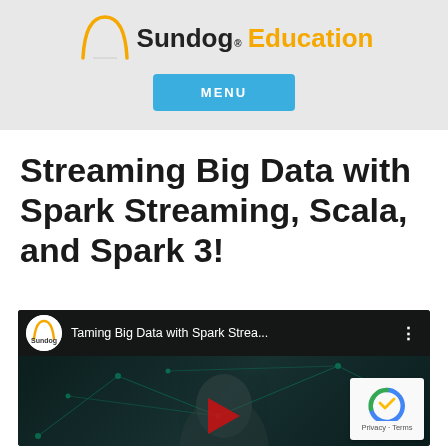[Figure (logo): Sundog Education logo with orange arc and bold text]
Streaming Big Data with Spark Streaming, Scala, and Spark 3!
[Figure (screenshot): YouTube video embed: Taming Big Data with Spark Strea... with Sundog Education channel logo, network visualization background, presenter face, red play button, and reCAPTCHA overlay]